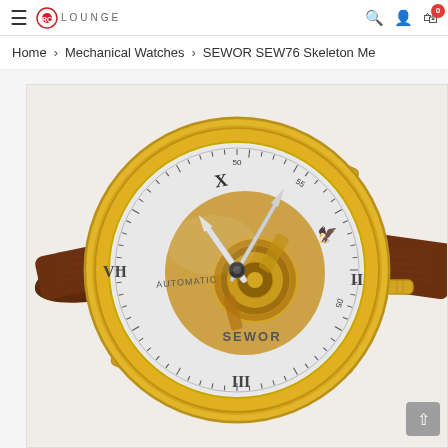≡ RC LOUNGE [search] [user] [cart 0]
Home > Mechanical Watches > SEWOR SEW76 Skeleton Me
[Figure (photo): SEWOR SEW76 Skeleton Mechanical watch with gold case, white dial, visible skeleton movement with gold gears, brown leather strap, Roman numerals, AUTOMATIC label on dial, SEWOR brand name on dial.]